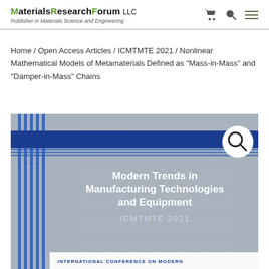MaterialsResearchForum LLC — Publisher in Materials Science and Engineering
Home / Open Access Articles / ICMTMTE 2021 / Nonlinear Mathematical Models of Metamaterials Defined as “Mass-in-Mass” and “Damper-in-Mass” Chains
[Figure (photo): Book cover for 'Modern Trends in Manufacturing Technologies and Equipment — ICMTMTE 2021'. Gray background with chevron pattern, dark blue horizontal band, vertical blue stripes on left side, white search magnifier icon in top-right circle. White bold text in center: 'Modern Trends in Manufacturing Technologies and Equipment' and 'ICMTMTE 2021'. Bottom white banner with text 'INTERNATIONAL CONFERENCE ON MODERN'.]